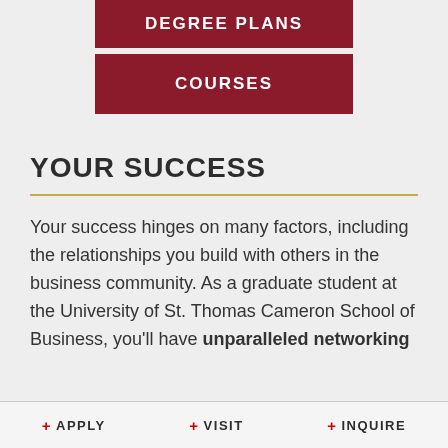[Figure (other): Dark red button labeled DEGREE PLANS]
[Figure (other): Dark red button labeled COURSES]
YOUR SUCCESS
Your success hinges on many factors, including the relationships you build with others in the business community. As a graduate student at the University of St. Thomas Cameron School of Business, you'll have unparalleled networking
+ APPLY  + VISIT  + INQUIRE